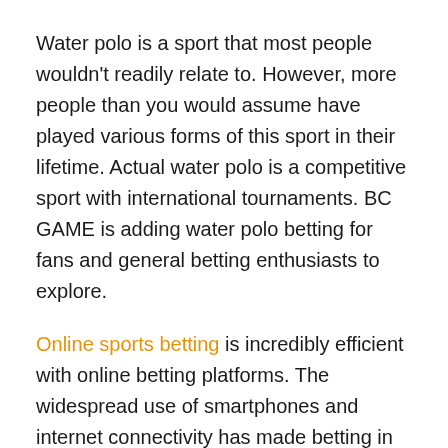Water polo is a sport that most people wouldn't readily relate to. However, more people than you would assume have played various forms of this sport in their lifetime. Actual water polo is a competitive sport with international tournaments. BC GAME is adding water polo betting for fans and general betting enthusiasts to explore.
Online sports betting is incredibly efficient with online betting platforms. The widespread use of smartphones and internet connectivity has made betting in real-time easy. Users simply install an app or visit a site like BC GAME and place or track multiple bets simultaneously.
An introduction to Water Polo